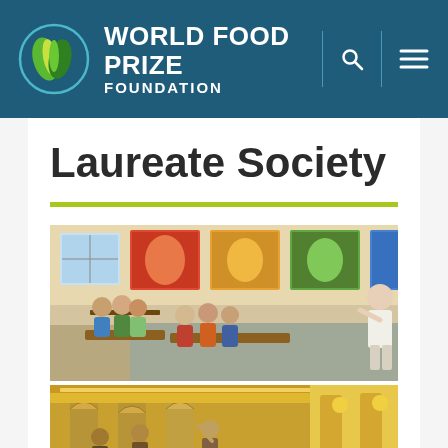[Figure (logo): World Food Prize Foundation logo: circular emblem with stylized green leaf/grain design, beside bold white text reading 'WORLD FOOD PRIZE FOUNDATION' on dark teal header bar, with search and menu icons on right]
Laureate Society
[Figure (photo): Indoor photo of a group of people sitting on wooden benches in a room with colorful murals/paintings on the wall, while a person in white stands presenting or speaking to them]
[Figure (photo): Interior photo of an ornate building with arched columns and golden decorative elements, with people visible in the foreground]